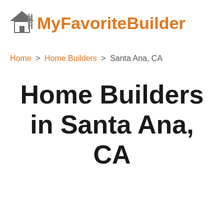[Figure (logo): MyFavoriteBuilder logo with house icon and ladder graphic in gray, followed by orange bold text 'MyFavoriteBuilder']
Home > Home Builders > Santa Ana, CA
Home Builders in Santa Ana, CA